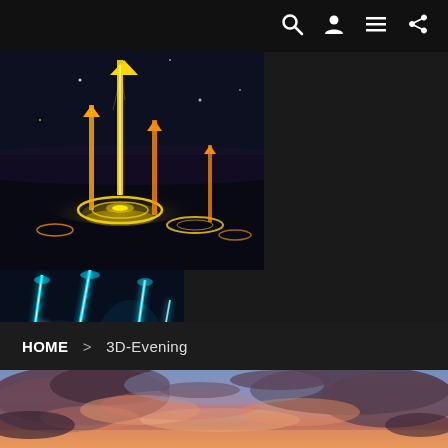navigation icons: search, user, menu, share
[Figure (screenshot): UE5 Niagara particle effect scene with glowing golden arrows shooting upward from circular rune platforms on a dark reflective surface, with sparkle effects]
ooting Arrows in UE5 Niag
[Figure (screenshot): Bright cyan/blue lightning bolt effects against a dark background, with multiple branching lightning strikes creating an electric storm visual effect]
HOME > 3D-Evening
[Figure (photo): Dramatic evening sky photograph showing pink, orange and purple hued clouds at sunset/dusk with rich warm colors]